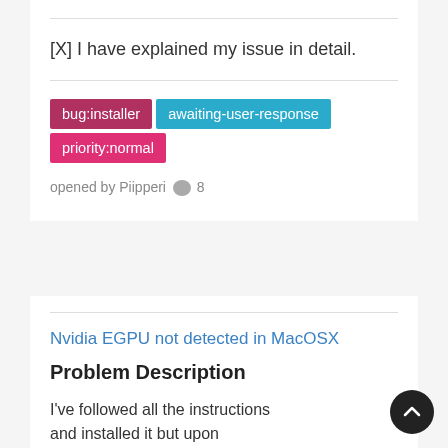[X] I have explained my issue in detail.
bug:installer  awaiting-user-response  priority:normal
opened by Piipperi 💬 8
Nvidia EGPU not detected in MacOSX
Problem Description
I've followed all the instructions and installed it but upon